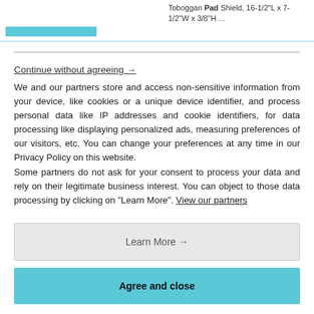Toboggan Pad Shield, 16-1/2"L x 7-1/2"W x 3/8"H ...
Continue without agreeing →
We and our partners store and access non-sensitive information from your device, like cookies or a unique device identifier, and process personal data like IP addresses and cookie identifiers, for data processing like displaying personalized ads, measuring preferences of our visitors, etc. You can change your preferences at any time in our Privacy Policy on this website.
Some partners do not ask for your consent to process your data and rely on their legitimate business interest. You can object to those data processing by clicking on "Learn More". View our partners
Learn More →
Agree and close